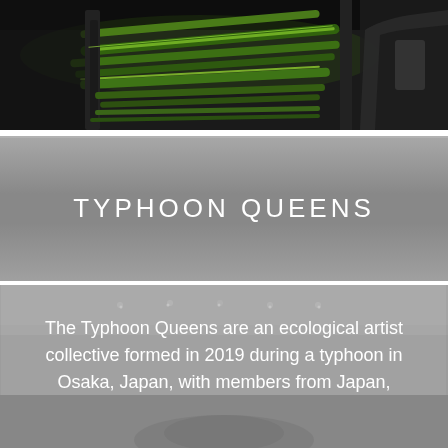[Figure (photo): Dark industrial photograph showing green-lit cylindrical machinery or rollers, with a person in dark clothing visible on the right side]
TYPHOON QUEENS
[Figure (photo): Indoor gallery or white room space with overhead lighting visible as dots, with an overlaid description text about Typhoon Queens. A figure or artwork is partially visible at the bottom.]
The Typhoon Queens are an ecological artist collective formed in 2019 during a typhoon in Osaka, Japan, with members from Japan,